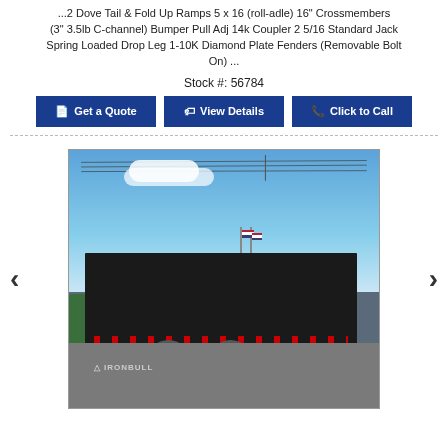... 2 Dove Tail & Fold Up Ramps 5 x 16 (roll-adle) 16" Crossmembers (3" 3.5lb C-channel) Bumper Pull Adj 14k Coupler 2 5/16 Standard Jack Spring Loaded Drop Leg 1-10K Diamond Plate Fenders (Removable Bolt On) ...
Stock #: 56784
Get a Quote | View Details | Click to Call
[Figure (photo): Outdoor photo of a black Iron Bull dump trailer with tandem axles, red lights along the side, parked in a lot. American flags visible on poles in the background against a blue sky with trees.]